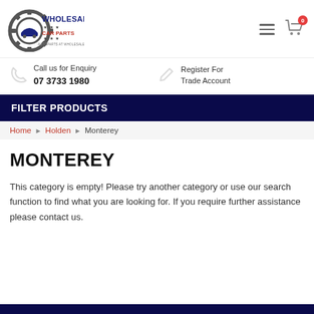[Figure (logo): Wholesale Car Parts logo — gear with car silhouette and text WHOLESALE CAR PARTS AUTOPARTS AT WHOLESALE PRICES]
Call us for Enquiry
07 3733 1980
Register For Trade Account
FILTER PRODUCTS
Home ▸ Holden ▸ Monterey
MONTEREY
This category is empty! Please try another category or use our search function to find what you are looking for. If you require further assistance please contact us.